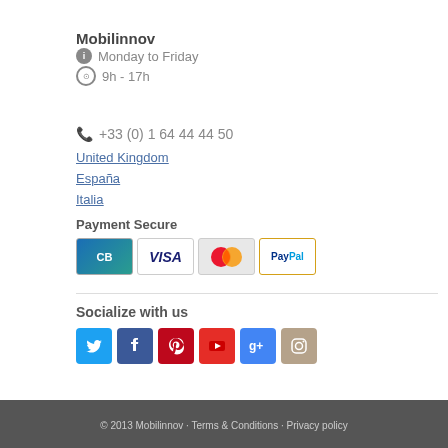Mobilinnov
Monday to Friday
9h - 17h
+33 (0) 1 64 44 44 50
United Kingdom
España
Italia
Payment Secure
[Figure (logo): Payment method logos: CB, VISA, MasterCard, PayPal]
Socialize with us
[Figure (logo): Social media icons: Twitter, Facebook, Pinterest, YouTube, Google+, Instagram]
© 2013 Mobilinnov · Terms & Conditions · Privacy policy